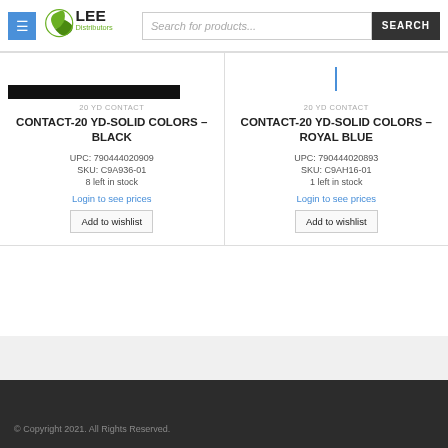Lee Distributors - Search for products...
20 YD CONTACT
CONTACT-20 YD-SOLID COLORS – BLACK
UPC: 790444020909
SKU: C9A936-01
8 left in stock
Login to see prices
Add to wishlist
20 YD CONTACT
CONTACT-20 YD-SOLID COLORS – ROYAL BLUE
UPC: 790444020893
SKU: C9AH16-01
1 left in stock
Login to see prices
Add to wishlist
© Copyright 2021. All Rights Reserved.